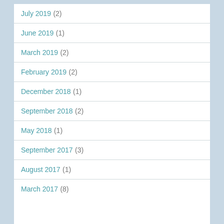July 2019 (2)
June 2019 (1)
March 2019 (2)
February 2019 (2)
December 2018 (1)
September 2018 (2)
May 2018 (1)
September 2017 (3)
August 2017 (1)
March 2017 (8)